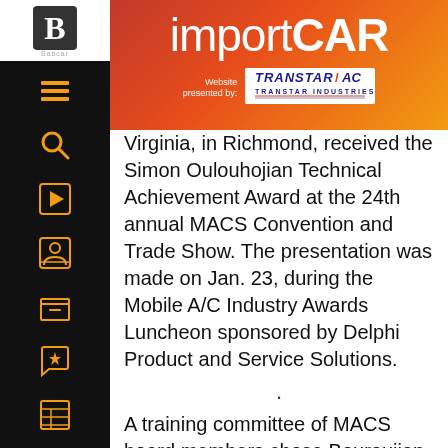importCAR
[Figure (logo): Transtar Industries logo with text 'Website presented by: TRANSTAR AC TRANSTAR INDUSTRIES']
Virginia, in Richmond, received the Simon Oulouhojian Technical Achievement Award at the 24th annual MACS Convention and Trade Show. The presentation was made on Jan. 23, during the Mobile A/C Industry Awards Luncheon sponsored by Delphi Product and Service Solutions.
.
A training committee of MACS board members chose Bouroujian from a large field of candidates based on his efforts to pursue training in mobile A/C and engine cooling system service. In addition to a plaque and his convention expenses, Bouroujian was given a brand new tool box from Snap-on